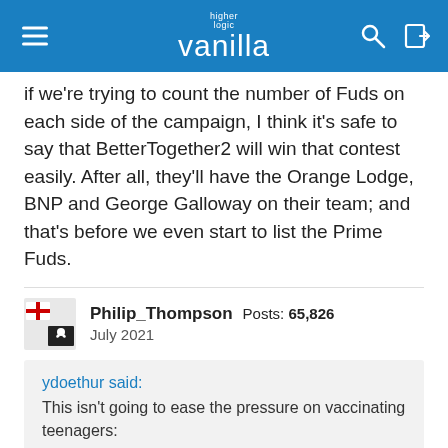higher logic vanilla
if we're trying to count the number of Fuds on each side of the campaign, I think it's safe to say that BetterTogether2 will win that contest easily. After all, they'll have the Orange Lodge, BNP and George Galloway on their team; and that's before we even start to list the Prime Fuds.
Philip_Thompson  Posts: 65,826
July 2021
ydoethur said:
This isn't going to ease the pressure on vaccinating teenagers:

Covid-19: Irish vaccine programme to include 12-15-year-olds